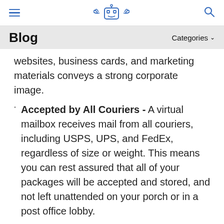≡ [logo] 🔍
Blog   Categories ▾
websites, business cards, and marketing materials conveys a strong corporate image.
Accepted by All Couriers - A virtual mailbox receives mail from all couriers, including USPS, UPS, and FedEx, regardless of size or weight. This means you can rest assured that all of your packages will be accepted and stored, and not left unattended on your porch or in a post office lobby.